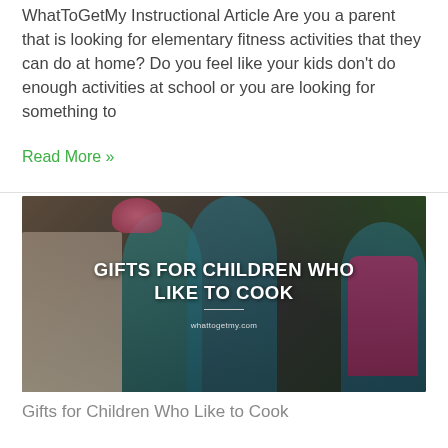WhatToGetMy Instructional Article Are you a parent that is looking for elementary fitness activities that they can do at home? Do you feel like your kids don't do enough activities at school or you are looking for something to
Read More »
[Figure (photo): Photo of three children wearing chef hats and aprons standing near a decorated cake outdoors, with text overlay reading 'GIFTS FOR CHILDREN WHO LIKE TO COOK' and website 'whattogetmy.com']
Gifts for Children Who Like to Cook